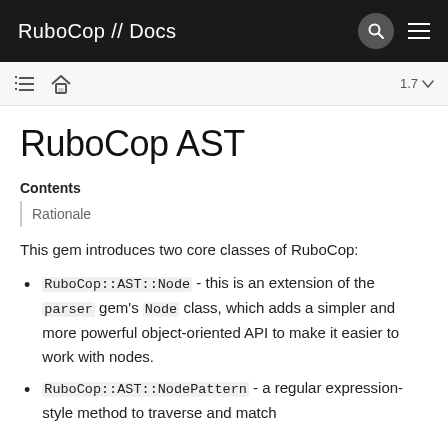RuboCop // Docs
RuboCop AST
Contents
Rationale
This gem introduces two core classes of RuboCop:
RuboCop::AST::Node - this is an extension of the parser gem's Node class, which adds a simpler and more powerful object-oriented API to make it easier to work with nodes.
RuboCop::AST::NodePattern - a regular expression-style method to traverse and match